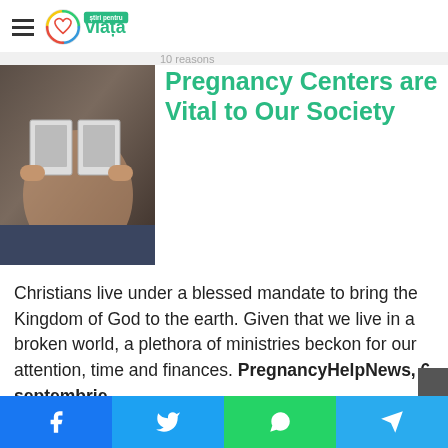viata — știpentru viață
Pregnancy Centers are Vital to Our Society
[Figure (photo): Person holding ultrasound photos in front of their pregnant belly]
Christians live under a blessed mandate to bring the Kingdom of God to the earth. Given that we live in a broken world, a plethora of ministries beckon for our attention, time and finances. PregnancyHelpNews, 6 septembrie
Pregnant at 19, She Wanted Her Baby,
[Figure (photo): Young woman looking downward, contemplative expression]
Facebook Twitter WhatsApp Telegram